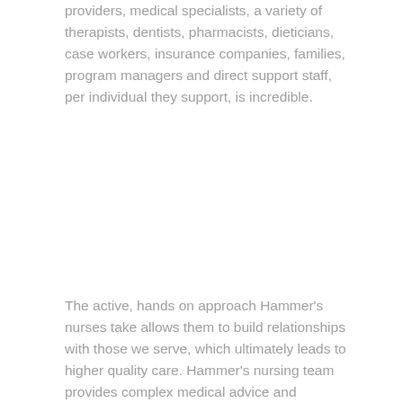providers, medical specialists, a variety of therapists, dentists, pharmacists, dieticians, case workers, insurance companies, families, program managers and direct support staff, per individual they support, is incredible.
The active, hands on approach Hammer's nurses take allows them to build relationships with those we serve, which ultimately leads to higher quality care. Hammer's nursing team provides complex medical advice and education, using a variety of resources and real life examples to help staff at our 46 home